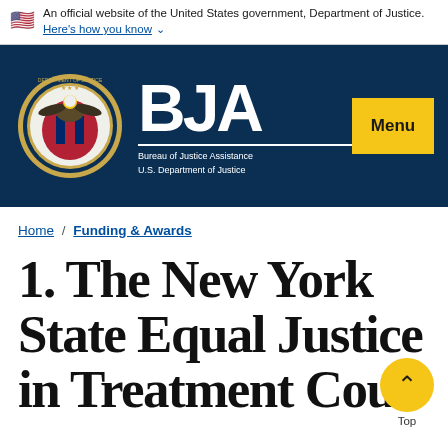An official website of the United States government, Department of Justice. Here's how you know
[Figure (logo): BJA Bureau of Justice Assistance U.S. Department of Justice logo with DOJ seal on dark navy background, Menu button top right]
Home / Funding & Awards
1. The New York State Equal Justice in Treatment Cour...